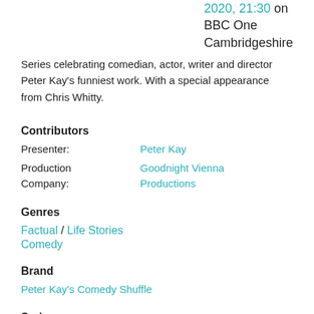2020, 21:30 on BBC One Cambridgeshire
Series celebrating comedian, actor, writer and director Peter Kay's funniest work. With a special appearance from Chris Whitty.
Contributors
Presenter: Peter Kay
Production Company: Goodnight Vienna Productions
Genres
Factual / Life Stories
Comedy
Brand
Peter Kay's Comedy Shuffle
Series